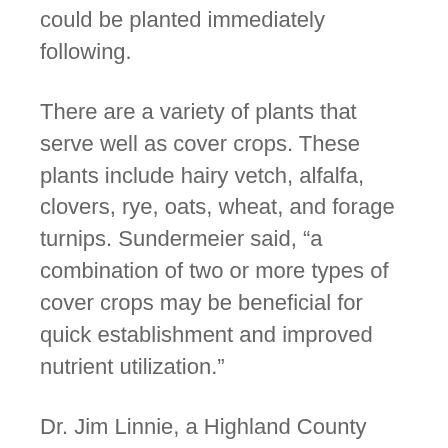could be planted immediately following.
There are a variety of plants that serve well as cover crops. These plants include hairy vetch, alfalfa, clovers, rye, oats, wheat, and forage turnips. Sundermeier said, “a combination of two or more types of cover crops may be beneficial for quick establishment and improved nutrient utilization.”
Dr. Jim Linnie, a Highland County grass-fed beef producer, has utilized cover crops on his farm to extend the grazing season and improve the soil quality. Linnie no-tilled his cover crop seed into his existing perennial pastures after his cattle had grazed the pasture to a low height. He used a combination of forage